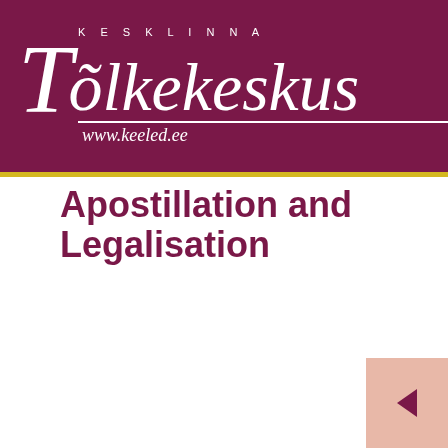KESKLINNA Tõlkekeskus www.keeled.ee
Apostillation and Legalisation